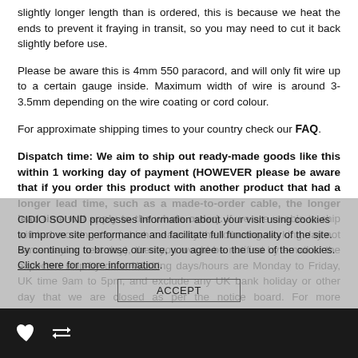slightly longer length than is ordered, this is because we heat the ends to prevent it fraying in transit, so you may need to cut it back slightly before use.
Please be aware this is 4mm 550 paracord, and will only fit wire up to a certain gauge inside. Maximum width of wire is around 3-3.5mm depending on the wire coating or cord colour.
For approximate shipping times to your country check our FAQ.
Dispatch time: We aim to ship out ready-made goods like this within 1 working day of payment (HOWEVER please be aware that if you order this product with another product that had a longer lead time, such as a made-to-order cable, the longer lead time will apply to the whole order). If we are unable to ship within 1 working day (which means by the following working day not same day or next day), then you would be notified by email of the expected ship-by date. Working days/hours are Monday to Friday, UK time 9am to 5pm, and exclude any UK bank holiday or other day that we are closed as per the notice board. For more information please get in touch before purchasing.
CIDIO SOUND processes information about your visit using cookies to improve site performance and facilitate full functionality of the site. By continuing to browse our site, you agree to the use of the cookies. Click here for more information.
ACCEPT